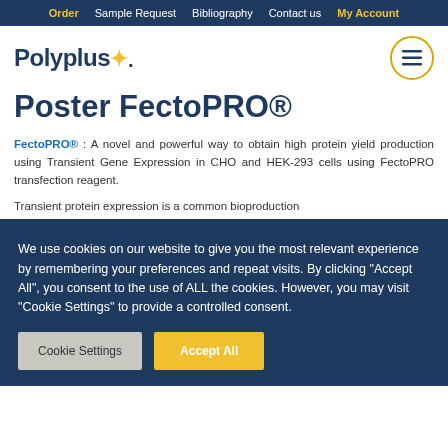Order | Sample Request | Bibliography | Contact us | My Account
[Figure (logo): Polyplus logo with star and navigation menu button]
Poster FectoPRO®
FectoPRO® : A novel and powerful way to obtain high protein yield production using Transient Gene Expression in CHO and HEK-293 cells using FectoPRO transfection reagent.
Transient protein expression is a common bioproduction
We use cookies on our website to give you the most relevant experience by remembering your preferences and repeat visits. By clicking "Accept All", you consent to the use of ALL the cookies. However, you may visit "Cookie Settings" to provide a controlled consent.